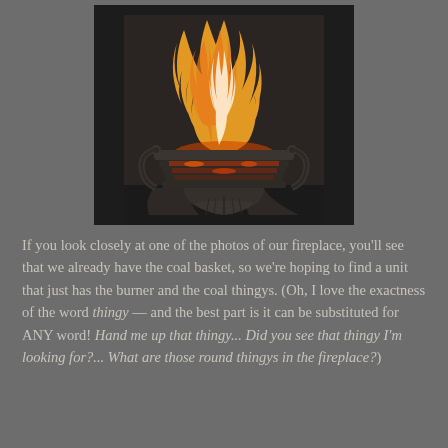[Figure (photo): A close-up photograph of a decorative cast-iron fireplace coal basket grate with flames burning above it. The grate is ornate with curved legs and decorative detailing at the base.]
If you look closely at one of the photos of our fireplace, you'll see that we already have the coal basket, so we're hoping to find a unit that just has the burner and the coal thingys. (Oh, I love the exactness of the word thingy — and the best part is it can be substituted for ANY word! Hand me up that thingy... Did you see that thingy I'm looking for?... What are those round thingys in the fireplace?)